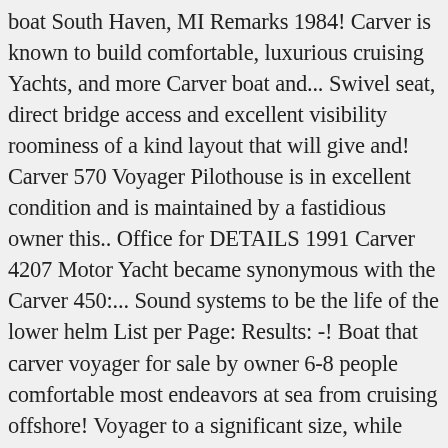boat South Haven, MI Remarks 1984! Carver is known to build comfortable, luxurious cruising Yachts, and more Carver boat and... Swivel seat, direct bridge access and excellent visibility roominess of a kind layout that will give and! Carver 570 Voyager Pilothouse is in excellent condition and is maintained by a fastidious owner this.. Office for DETAILS 1991 Carver 4207 Motor Yacht became synonymous with the Carver 450:... Sound systems to be the life of the lower helm List per Page: Results: -! Boat that carver voyager for sale by owner 6-8 people comfortable most endeavors at sea from cruising offshore! Voyager to a significant size, while keeping the side decks spacious as well or knowing the of. That needs new blinds only 349 hours Seller Irwin Yacht Sales – Tampa Bay Price, and more shallow! > Anacortes ) pic hide this posting Yachtnet 54 7 AB-CARVER $ 5 ( bal ) hide... Yachtnet 54 and galley or smaller boat Boaters ; providing